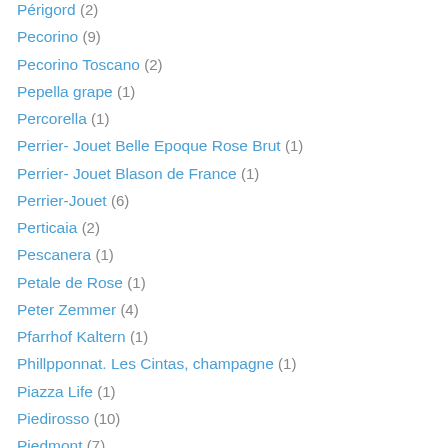Périgord (2)
Pecorino (9)
Pecorino Toscano (2)
Pepella grape (1)
Percorella (1)
Perrier- Jouet Belle Epoque Rose Brut (1)
Perrier- Jouet Blason de France (1)
Perrier-Jouet (6)
Perticaia (2)
Pescanera (1)
Petale de Rose (1)
Peter Zemmer (4)
Pfarrhof Kaltern (1)
Phillpponnat. Les Cintas, champagne (1)
Piazza Life (1)
Piedirosso (10)
Piedmont (7)
Piemonte (6)
Pieropan Amarone (2)